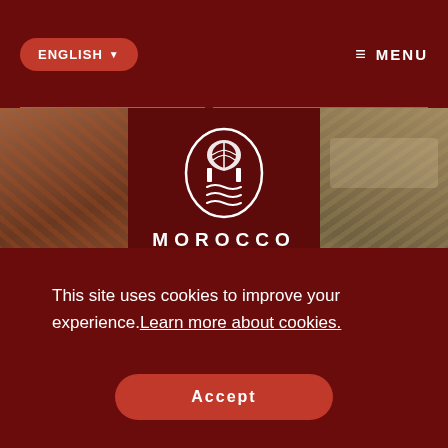ENGLISH ▼   ≡ MENU
[Figure (logo): Morocco tourism logo: oval arch/palmette symbol above text MOROCCO]
[Figure (illustration): Social media icons: Instagram, Pinterest, Facebook, YouTube, Twitter]
[Figure (photo): Left side decorative photo of traditional Moroccan textiles/clothing]
[Figure (photo): Right side decorative photo of food/table setting]
This site uses cookies to improve your experience. Learn more about cookies.
Accept